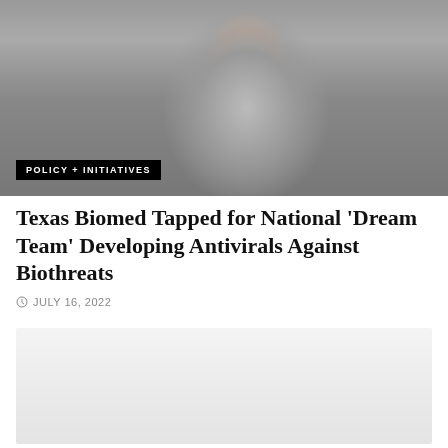[Figure (photo): A man in a plaid shirt standing in a laboratory setting, with lab equipment visible in the background. An overlay label reads 'POLICY + INITIATIVES'.]
Texas Biomed Tapped for National ‘Dream Team’ Developing Antivirals Against Biothreats
JULY 16, 2022
[Figure (photo): A partially visible second image, largely gray/white, appearing to be cut off at the bottom of the page.]